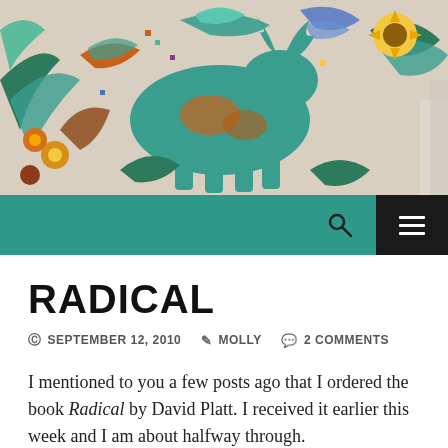[Figure (photo): Colorful mosaic mural featuring stylized animals (deer, birds) and floral patterns in teal, orange, brown, and green on a white background.]
RADICAL
© SEPTEMBER 12, 2010  ✎ MOLLY  ✉ 2 COMMENTS
I mentioned to you a few posts ago that I ordered the book Radical by David Platt. I received it earlier this week and I am about halfway through.